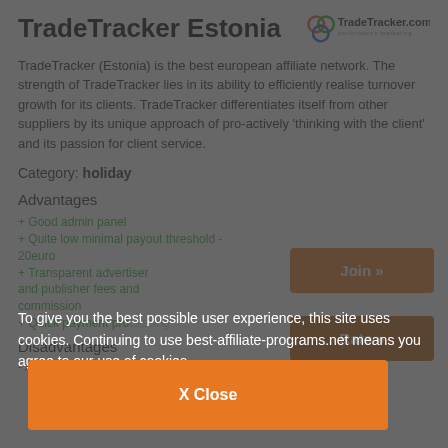TradeTracker Estonia
[Figure (logo): TradeTracker.com performance marketing logo with colored rings]
TradeTracker (Estonia) is the best european affiliate network. The strength of TradeTracker lies in its ability to efficiently realise turnover growth for its clients. TradeTracker differentiates itself from other suppliers by its unique approach of pro-actively ‘thinking with the client’ and its passion for client service.
Category: holiday
Advantages
+ Good admin panel
+ Quite low minimal payout threshold - 20euro
+ Transparent advertiser and publisher fees and commission
+ Quick payment processing
Disadvantages
- Accounts are not set as
To give you the best possible user experience, this site uses cookies. Continuing to use best-affiliate-programs.net means you agree to our use of cookies.
X Close